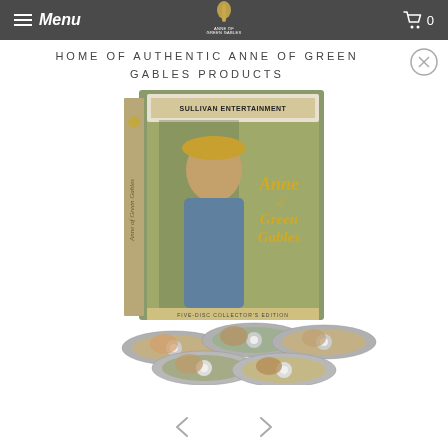Menu | Anne of Green Gables Store | Cart 0
HOME OF AUTHENTIC ANNE OF GREEN GABLES PRODUCTS
[Figure (photo): Anne of Green Gables Five-Disc Collector's Edition DVD box set with five discs displayed in front, showing Sullivan Entertainment branding and Anne of Green Gables imagery]
← →